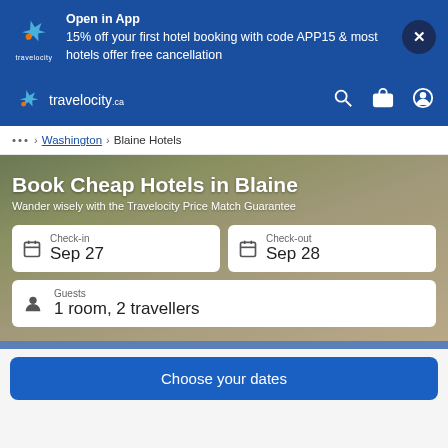[Figure (screenshot): Travelocity app promotional banner with logo, offer text, and close button]
Open in App
15% off your first hotel booking with code APP15 & most hotels offer free cancellation
[Figure (screenshot): Travelocity.ca navigation bar with logo, search, trips, and account icons]
... > Washington > Blaine Hotels
Book Cheap Hotels in Blaine
Wander wisely with the Travelocity Price Match Guarantee
Check-in
Sep 27
Check-out
Sep 28
Guests
1 room, 2 travellers
Choose your dates